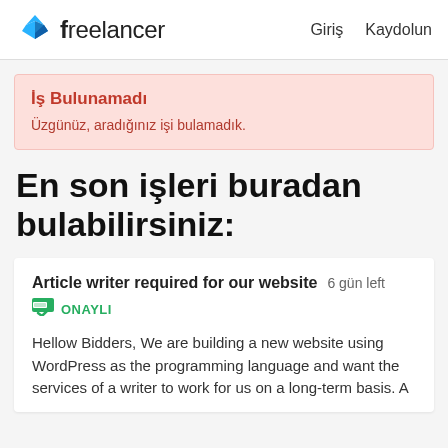freelancer   Giriş   Kaydolun
İş Bulunamadı
Üzgünüz, aradığınız işi bulamadık.
En son işleri buradan bulabilirsiniz:
Article writer required for our website  6 gün left
ONAYLI
Hellow Bidders, We are building a new website using WordPress as the programming language and want the services of a writer to work for us on a long-term basis. A